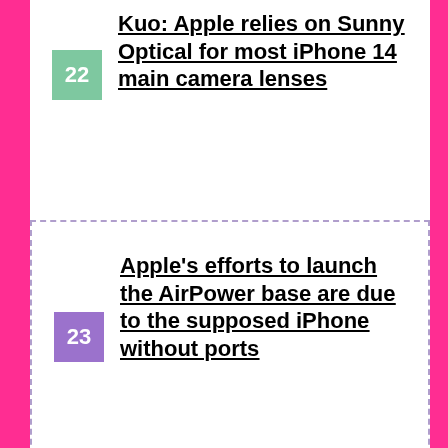22 Kuo: Apple relies on Sunny Optical for most iPhone 14 main camera lenses
23 Apple's efforts to launch the AirPower base are due to the supposed iPhone without ports
24 PlayStation unveils the official Backbone One controller for gaming on iPhone
[Figure (infographic): Advertisement banner for Visit Premium Outlets / Leesburg Premium Outlets with logo and map pin icon]